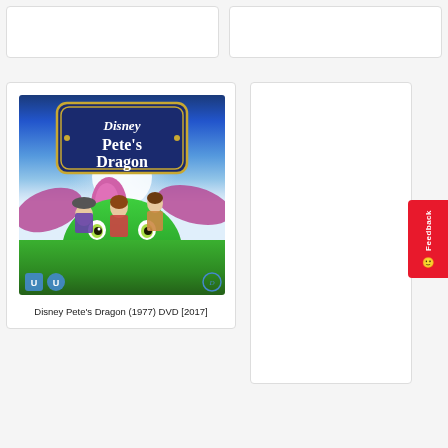[Figure (photo): Two placeholder product card outlines side by side at top of page]
[Figure (illustration): Disney Pete's Dragon (1977) DVD [2017] cover art showing animated green dragon with pink hair and Disney characters riding on it, with Disney Pete's Dragon title badge on blue background]
Disney Pete's Dragon (1977) DVD [2017]